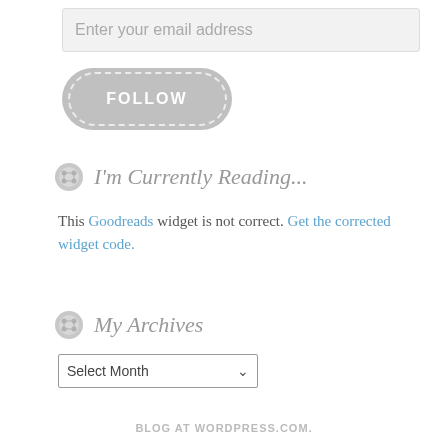Enter your email address
[Figure (other): FOLLOW button with rounded pill shape and dashed inner border on grey background]
I'm Currently Reading...
This Goodreads widget is not correct. Get the corrected widget code.
My Archives
Select Month
BLOG AT WORDPRESS.COM.